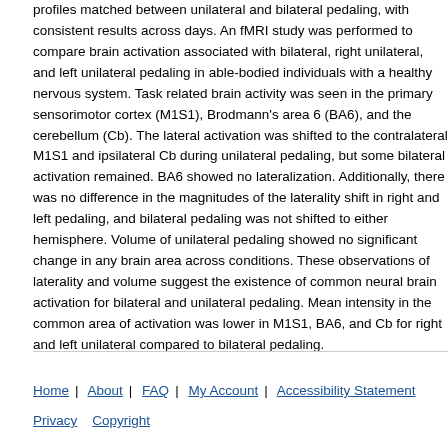profiles matched between unilateral and bilateral pedaling, with consistent results across days. An fMRI study was performed to compare brain activation associated with bilateral, right unilateral, and left unilateral pedaling in able-bodied individuals with a healthy nervous system. Task related brain activity was seen in the primary sensorimotor cortex (M1S1), Brodmann's area 6 (BA6), and the cerebellum (Cb). The lateral activation was shifted to the contralateral M1S1 and ipsilateral Cb during unilateral pedaling, but some bilateral activation remained. BA6 showed no lateralization. Additionally, there was no difference in the magnitudes of the laterality shift in right and left pedaling, and bilateral pedaling was not shifted to either hemisphere. Volume of unilateral pedaling showed no significant change in any brain area across conditions. These observations of laterality and volume suggest the existence of common neural brain activation for bilateral and unilateral pedaling. Mean intensity in the common area of activation was lower in M1S1, BA6, and Cb for right and left unilateral compared to bilateral pedaling.
Home | About | FAQ | My Account | Accessibility Statement Privacy Copyright